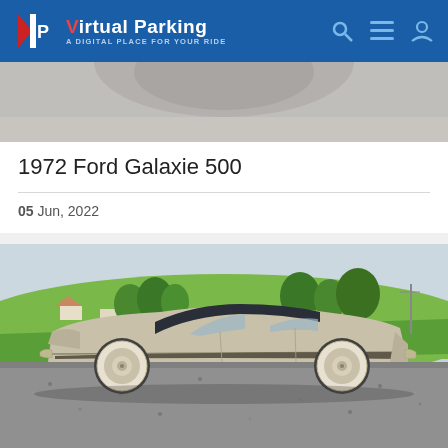Virtual Parking — A DIGITAL PLACE FOR YOUR RIDE
[Figure (photo): Partial top view of a car, cropped, showing pavement and a circular hubcap detail]
1972 Ford Galaxie 500
05 Jun, 2022
[Figure (photo): Side profile photo of a 1972 Ford Galaxie 500, tan/champagne body with dark vinyl roof, white wall tires, parked on gravel with green grass hill and trees in background]